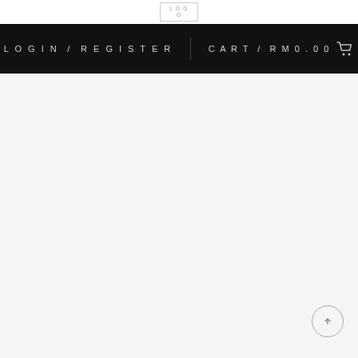[Figure (logo): Small logo box with text in top white bar]
LOGIN / REGISTER   CART / RM0.00
[Figure (screenshot): Large light grey empty content area with scroll-to-top button in bottom right corner]